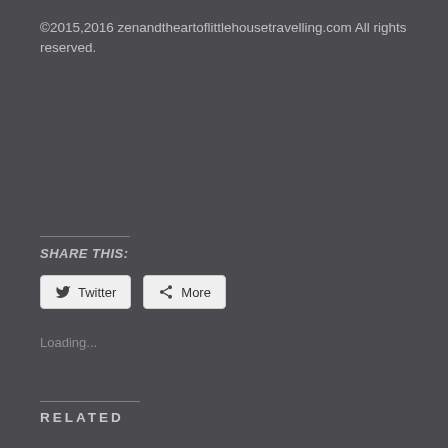©2015,2016 zenandtheartoflittlehousetravelling.com All rights reserved.
SHARE THIS:
Twitter | More (share buttons)
Loading...
RELATED